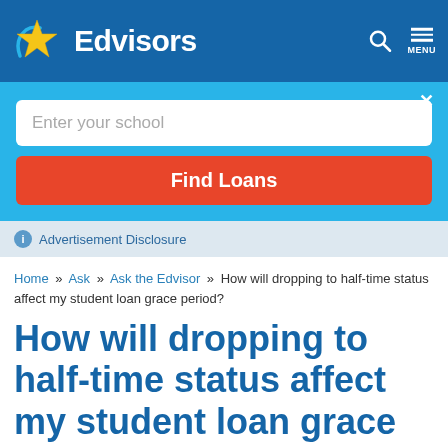Edvisors
Enter your school
Find Loans
Advertisement Disclosure
Home » Ask » Ask the Edvisor » How will dropping to half-time status affect my student loan grace period?
How will dropping to half-time status affect my student loan grace period?
By Edvisors Network
November 18, 2015